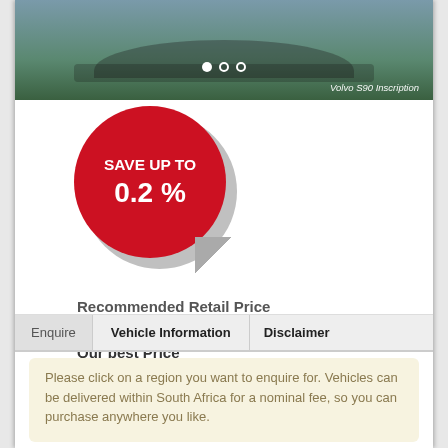[Figure (photo): Volvo S90 Inscription car photo with carousel dots and caption]
[Figure (infographic): Red circular sticker badge reading SAVE UP TO 0.2%]
Recommended Retail Price
R 991,600
Our best Price
R 989,600
Save up to
R 2,000
Enquire   Vehicle Information   Disclaimer
Please click on a region you want to enquire for. Vehicles can be delivered within South Africa for a nominal fee, so you can purchase anywhere you like.